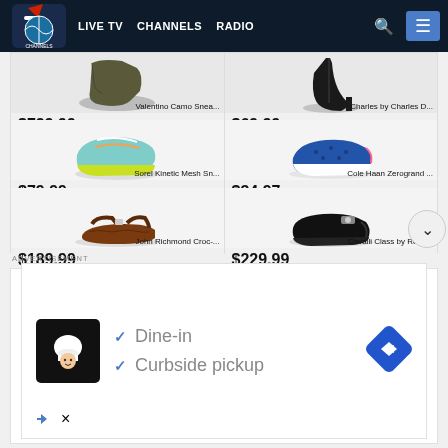LIVE TV  CHANNELS  RADIO
[Figure (screenshot): Product grid showing 6 shoes: Valentino Camo Snea... $729.99, Charles by Charles D... $69.99, Sorel Kinetic Mesh Sn... $79.99, Cole Haan Zerogrand ... $34.97, John Richmond Croc-... $189.99, Cavalli Class by Robe... $229.99]
ADVERTISEMENT
[Figure (screenshot): Advertisement banner with checkmarks: Dine-in, Curbside pickup, with a blue diamond arrow logo and a chef character icon]